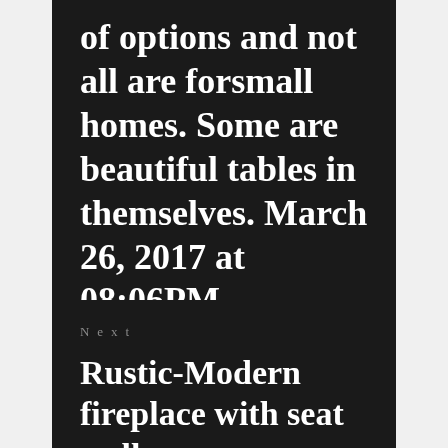of options and not all are forsmall homes. Some are beautiful tables in themselves. March 26, 2017 at 08:06PM
Next
Rustic-Modern fireplace with seat walls http://ift.tt/2lYhLDg March